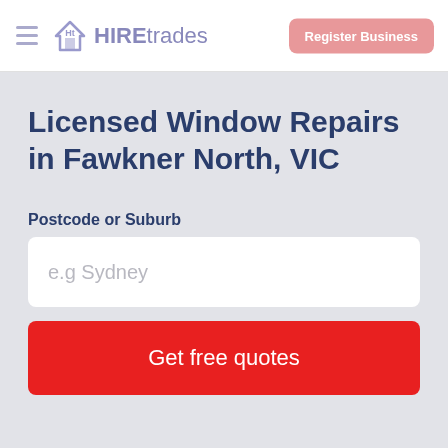HIREtrades | Register Business
Licensed Window Repairs in Fawkner North, VIC
Postcode or Suburb
e.g Sydney
Get free quotes